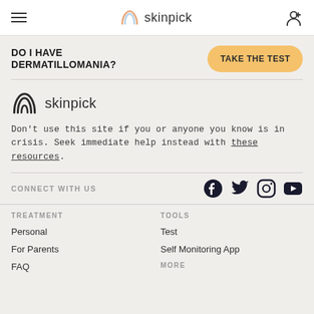skinpick
DO I HAVE DERMATILLOMANIA?
TAKE THE TEST
[Figure (logo): Skinpick logo with rainbow arch icon and text 'skinpick']
Don't use this site if you or anyone you know is in crisis. Seek immediate help instead with these resources.
CONNECT WITH US
[Figure (infographic): Social media icons: Facebook, Twitter, Instagram, YouTube]
TREATMENT
Personal
For Parents
FAQ
TOOLS
Test
Self Monitoring App
MORE